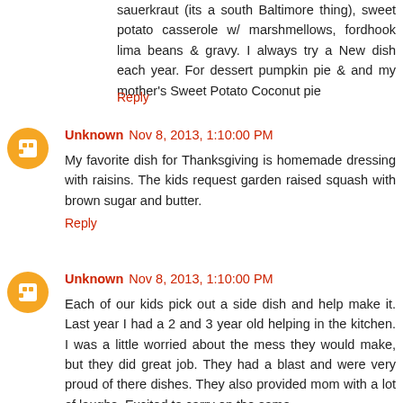sauerkraut (its a south Baltimore thing), sweet potato casserole w/ marshmellows, fordhook lima beans & gravy. I always try a New dish each year. For dessert pumpkin pie & and my mother's Sweet Potato Coconut pie
Reply
Unknown  Nov 8, 2013, 1:10:00 PM
My favorite dish for Thanksgiving is homemade dressing with raisins. The kids request garden raised squash with brown sugar and butter.
Reply
Unknown  Nov 8, 2013, 1:10:00 PM
Each of our kids pick out a side dish and help make it. Last year I had a 2 and 3 year old helping in the kitchen. I was a little worried about the mess they would make, but they did great job. They had a blast and were very proud of there dishes. They also provided mom with a lot of laughs. Excited to carry on the same